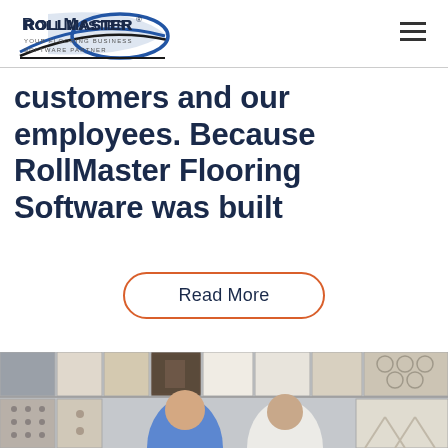RollMaster — Your Flooring Business Software Partner
customers and our employees. Because RollMaster Flooring Software was built
Read More
[Figure (photo): Two people (man in blue shirt and woman in white) standing in front of a wall display of various flooring tile samples]